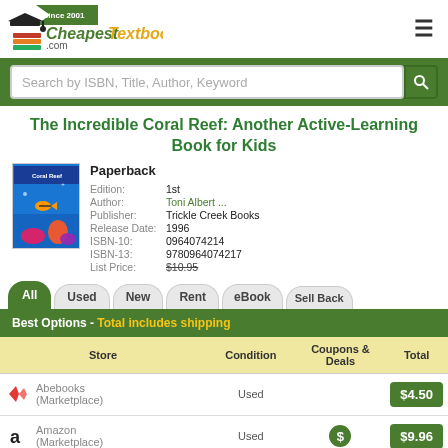[Figure (logo): CheapestTextbooks.com logo with graduation cap icon and 'Since 2001' banner]
Search by ISBN, Title, Author, Keyword
The Incredible Coral Reef: Another Active-Learning Book for Kids
[Figure (photo): Book cover of The Incredible Coral Reef showing coral reef underwater scene]
Paperback
Edition: 1st
Author: Toni Albert ...
Publisher: Trickle Creek Books
Release Date: 1996
ISBN-10: 0964074214
ISBN-13: 9780964074217
List Price: $10.95
| Store | Condition | Coupons & Deals | Total |
| --- | --- | --- | --- |
| Abebooks (Marketplace) | Used |  | $4.50 |
| Amazon (Marketplace) | Used | $ | $9.96 |